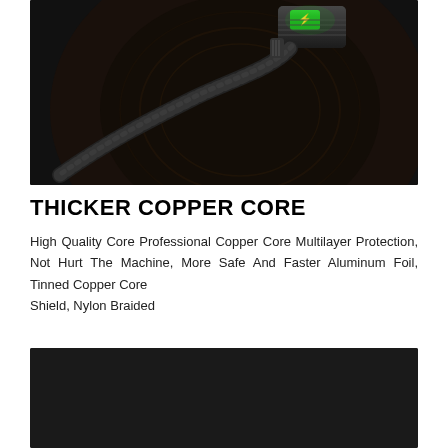[Figure (photo): Close-up product photo of a braided charging cable with a metallic connector featuring a green LED indicator, resting on a dark wooden surface.]
THICKER COPPER CORE
High Quality Core Professional Copper Core Multilayer Protection, Not Hurt The Machine, More Safe And Faster Aluminum Foil,  Tinned Copper Core Shield,  Nylon Braided
[Figure (photo): Marketing infographic showing text 'THICKER COPPER CORE' in bold with orange accent on bottom word, a light blue rounded card, orange dots, and 'MAGNETIC CABLES' label, all on dark background.]